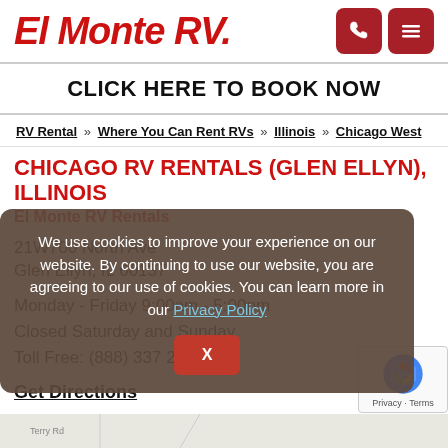EL MONTE RV.
CLICK HERE TO BOOK NOW
RV Rental » Where You Can Rent RVs » Illinois » Chicago West
CHICAGO RV RENTALS (GLEN ELLYN), ILLINOIS
El Monte RV Rentals
21W700 North Ave
Glen Ellyn, IL 60137
Monday - Friday 9:00am - 5:00pm
Closed Saturday and Sunday
Toll Free: (888) 337 2214
Get Directions
We use cookies to improve your experience on our website. By continuing to use our website, you are agreeing to our use of cookies. You can learn more in our Privacy Policy